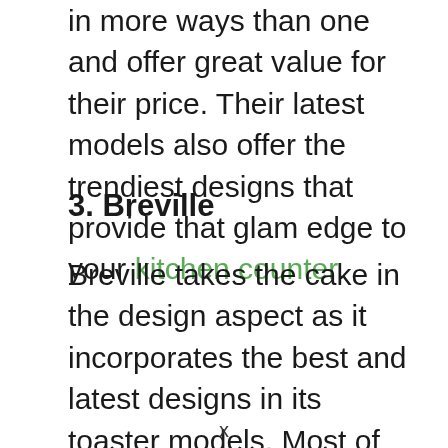in more ways than one and offer great value for their price. Their latest models also offer the trendiest designs that provide that glam edge to your kitchen counter.
3. Breville
Breville takes the cake in the design aspect as it incorporates the best and latest designs in its toaster models. Most of their toaster models come with an LED display that gives them the cool factor apart from the usual run-of-the-mill functionality. They also come with
x